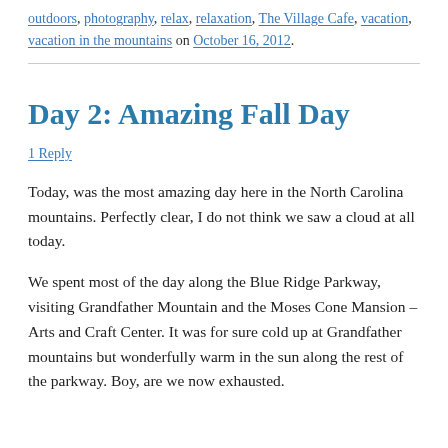outdoors, photography, relax, relaxation, The Village Cafe, vacation, vacation in the mountains on October 16, 2012.
Day 2: Amazing Fall Day
1 Reply
Today, was the most amazing day here in the North Carolina mountains. Perfectly clear, I do not think we saw a cloud at all today.
We spent most of the day along the Blue Ridge Parkway, visiting Grandfather Mountain and the Moses Cone Mansion – Arts and Craft Center. It was for sure cold up at Grandfather mountains but wonderfully warm in the sun along the rest of the parkway. Boy, are we now exhausted.